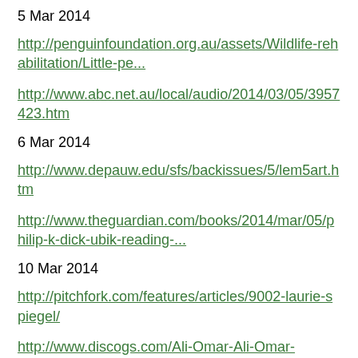5 Mar 2014
http://penguinfoundation.org.au/assets/Wildlife-rehabilitation/Little-pe...
http://www.abc.net.au/local/audio/2014/03/05/3957423.htm
6 Mar 2014
http://www.depauw.edu/sfs/backissues/5/lem5art.htm
http://www.theguardian.com/books/2014/mar/05/philip-k-dick-ubik-reading-...
10 Mar 2014
http://pitchfork.com/features/articles/9002-laurie-spiegel/
http://www.discogs.com/Ali-Omar-Ali-Omar-